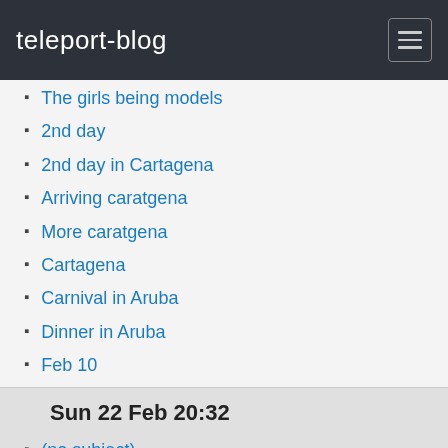teleport-blog
The girls being models
2nd day
2nd day in Cartagena
Arriving caratgena
More caratgena
Cartagena
Carnival in Aruba
Dinner in Aruba
Feb 10
Sun 22 Feb 20:32
(no subject)
21 feb
20th Feb
Tue 17 Feb 03:55
12:15.00n 72:10.00w
Feb 15 12:29.00n 70:09.00w
Sat 7 Feb 20:17
Change of plans